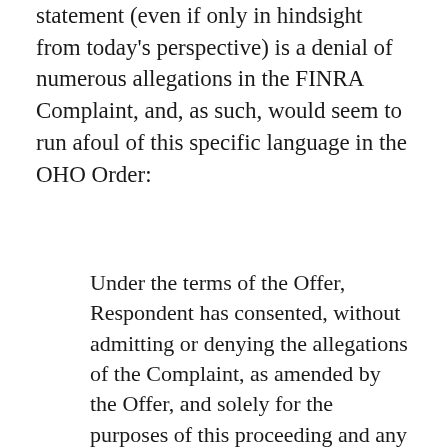statement (even if only in hindsight from today's perspective) is a denial of numerous allegations in the FINRA Complaint, and, as such, would seem to run afoul of this specific language in the OHO Order:
Under the terms of the Offer, Respondent has consented, without admitting or denying the allegations of the Complaint, as amended by the Offer, and solely for the purposes of this proceeding and any other proceeding brought by or on behalf of FINRA, or to which FINRA is a party, to the entry of findings and violations consistent with the allegations of the Complaint as amended by the Offer, and to the imposition of the sanctions set forth below, and fully understands that this Order will become part of Respondent's permanent disciplinary record and may be considered in any